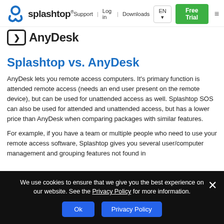Support | Log in | Downloads | EN | Free Trial
[Figure (logo): Splashtop logo with blue icon and bold text]
[Figure (logo): AnyDesk logo with bold text and icon]
Splashtop vs. AnyDesk
AnyDesk lets you remote access computers. It's primary function is attended remote access (needs an end user present on the remote device), but can be used for unattended access as well. Splashtop SOS can also be used for attended and unattended access, but has a lower price than AnyDesk when comparing packages with similar features.
For example, if you have a team or multiple people who need to use your remote access software, Splashtop gives you several user/computer management and grouping features not found in
We use cookies to ensure that we give you the best experience on our website. See the Privacy Policy for more information.